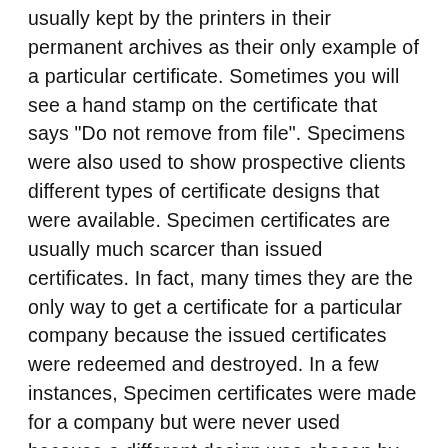usually kept by the printers in their permanent archives as their only example of a particular certificate. Sometimes you will see a hand stamp on the certificate that says "Do not remove from file". Specimens were also used to show prospective clients different types of certificate designs that were available. Specimen certificates are usually much scarcer than issued certificates. In fact, many times they are the only way to get a certificate for a particular company because the issued certificates were redeemed and destroyed. In a few instances, Specimen certificates were made for a company but were never used because a different design was chosen by the company. These certificates are normally stamped "Specimen" or they have small holes spelling the word specimen. Most of the time they don't have a serial number, or they have a serial number of 00000.